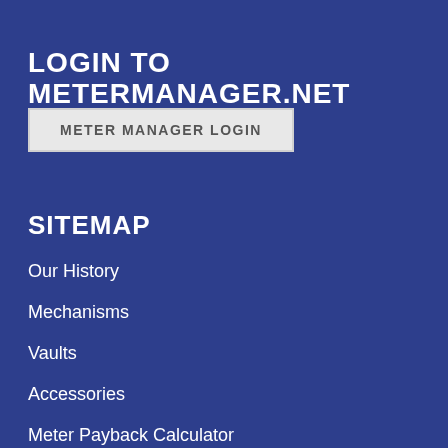LOGIN TO METERMANAGER.NET
METER MANAGER LOGIN
SITEMAP
Our History
Mechanisms
Vaults
Accessories
Meter Payback Calculator
Contract Manufacturing
Careers